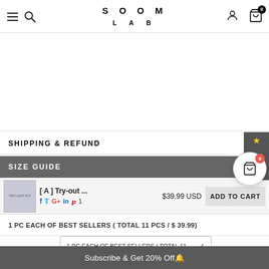SOOM LAB — navigation header with hamburger, search, logo, account, and cart (0)
SHIPPING & REFUND
SIZE GUIDE
[A] Try-out ... $39.99 USD ADD TO CART
1 PC EACH OF BEST SELLERS ( TOTAL 11 PCS / $ 39.99)
1 PC EACH OF BEST SELLERS ( TOTAL 11 ... ∨
Subscribe & Get 20% Off🔔